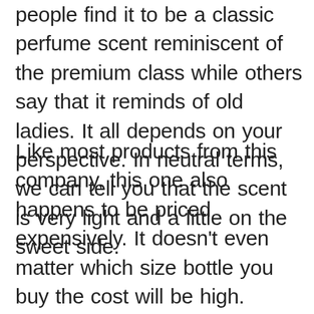people find it to be a classic perfume scent reminiscent of the premium class while others say that it reminds of old ladies. It all depends on your perspective. In neutral terms, we can tell you that the scent is very light and a little on the sweet side.
Like most products from this company, this one also happens to be priced expensively. It doesn't even matter which size bottle you buy the cost will be high. However, we recommend going for the 9.5-ounce bottle as it will save you the most money in terms of the per-ounce cost. The 2.25-ounce and 1-ounce bottles will force you to spend twice as much.